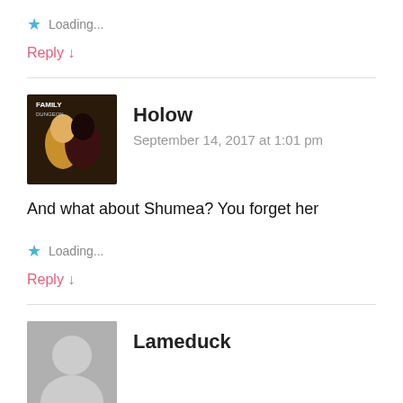★ Loading...
Reply ↓
Holow
September 14, 2017 at 1:01 pm
And what about Shumea? You forget her
★ Loading...
Reply ↓
Lameduck